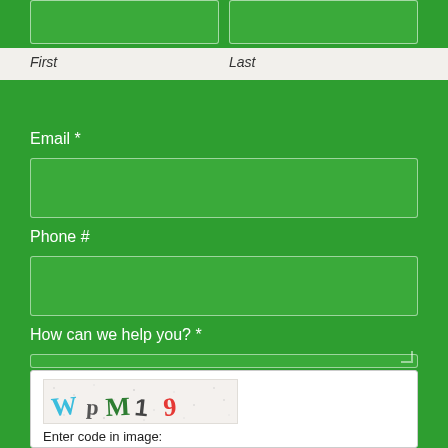[Figure (screenshot): Contact form partial view showing name fields (First/Last), Email, Phone #, How can we help you? textarea, and CAPTCHA section on a green background]
First
Last
Email *
Phone #
How can we help you? *
[Figure (other): CAPTCHA image showing characters: WpM1 9]
Enter code in image: